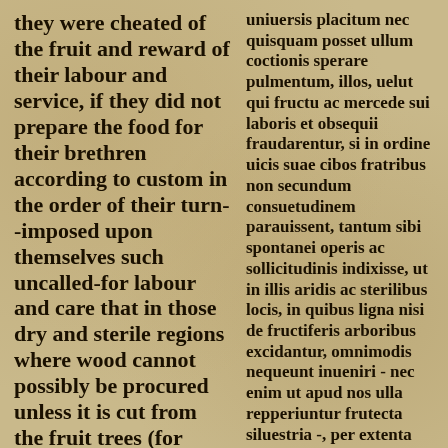they were cheated of the fruit and reward of their labour and service, if they did not prepare the food for their brethren according to custom in the order of their turn--imposed upon themselves such uncalled-for labour and care that in those dry and sterile regions where wood cannot possibly be procured unless it is cut from the fruit trees (for there are no wild shrubs found there as with us), they wander about through the wide deserts, and traversing
uniuersis placitum nec quisquam posset ullum coctionis sperare pulmentum, illos, uelut qui fructu ac mercede sui laboris et obsequii fraudarentur, si in ordine uicis suae cibos fratribus non secundum consuetudinem parauissent, tantum sibi spontanei operis ac sollicitudinis indixisse, ut in illis aridis ac sterilibus locis, in quibus ligna nisi de fructiferis arboribus excidantur, omnimodis nequeunt inueniri - nec enim ut apud nos ulla repperiuntur frutecta siluestria -, per extenta auia discurrentes et